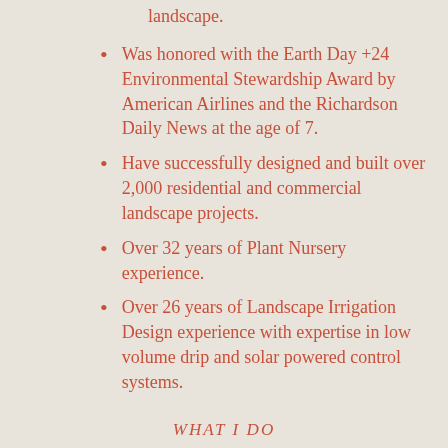landscape.
Was honored with the Earth Day +24 Environmental Stewardship Award by American Airlines and the Richardson Daily News at the age of 7.
Have successfully designed and built over 2,000 residential and commercial landscape projects.
Over 32 years of Plant Nursery experience.
Over 26 years of Landscape Irrigation Design experience with expertise in low volume drip and solar powered control systems.
WHAT I DO